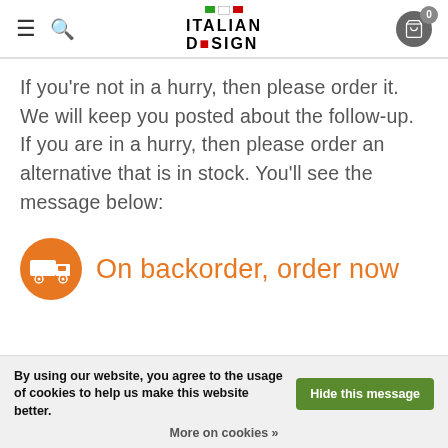Italian Design
If you're not in a hurry, then please order it. We will keep you posted about the follow-up. If you are in a hurry, then please order an alternative that is in stock. You'll see the message below:
[Figure (infographic): Orange circle with truck icon and text 'On backorder, order now' in orange]
By using our website, you agree to the usage of cookies to help us make this website better. Hide this message. More on cookies »